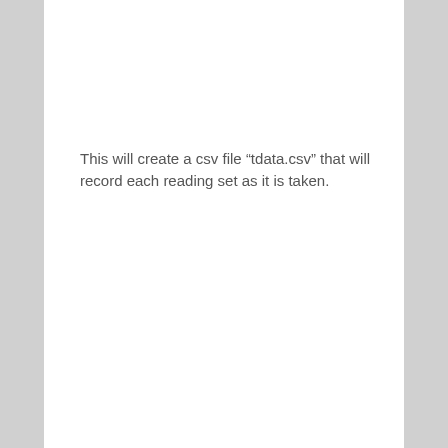This will create a csv file “tdata.csv” that will record each reading set as it is taken.